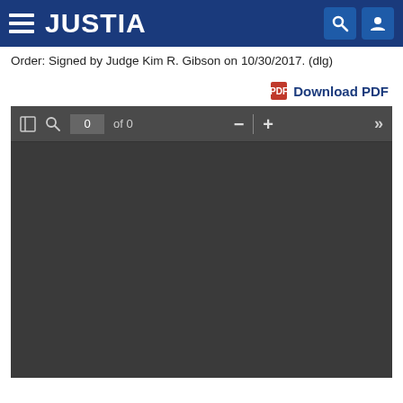JUSTIA
Order: Signed by Judge Kim R. Gibson on 10/30/2017. (dlg)
Download PDF
[Figure (screenshot): PDF viewer interface showing toolbar with page controls (0 of 0, zoom in/out, navigation) and a dark empty PDF canvas area]